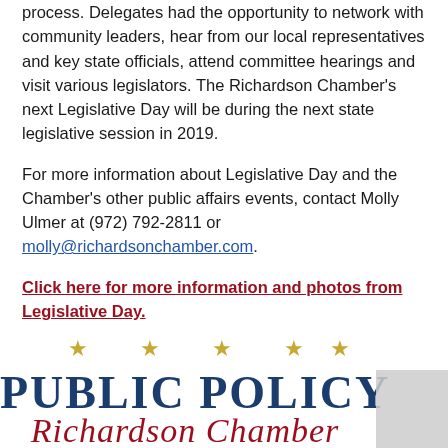process. Delegates had the opportunity to network with community leaders, hear from our local representatives and key state officials, attend committee hearings and visit various legislators. The Richardson Chamber's next Legislative Day will be during the next state legislative session in 2019.
For more information about Legislative Day and the Chamber's other public affairs events, contact Molly Ulmer at (972) 792-2811 or molly@richardsonchamber.com.
Click here for more information and photos from Legislative Day.
[Figure (logo): Public Policy Richardson Chamber logo with gold stars above blue serif text 'PUBLIC POLICY' and red script text 'Richardson Chamber']